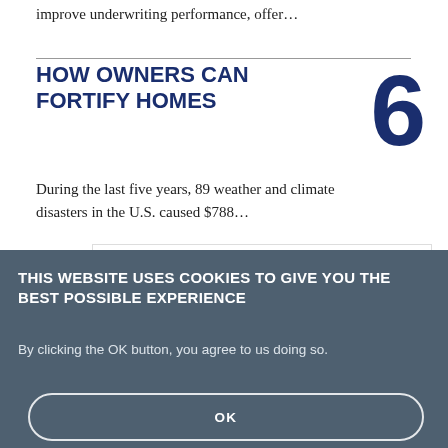improve underwriting performance, offer…
HOW OWNERS CAN FORTIFY HOMES
During the last five years, 89 weather and climate disasters in the U.S. caused $788…
[Figure (logo): Insurance Thought Leadership (ITL) advertisement banner with Sponsored by label and orange graphic]
THIS WEBSITE USES COOKIES TO GIVE YOU THE BEST POSSIBLE EXPERIENCE
By clicking the OK button, you agree to us doing so.
OK